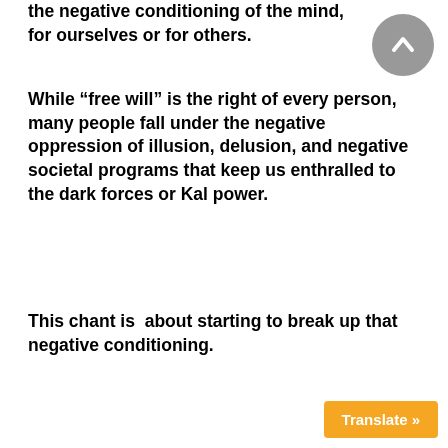the negative conditioning of the mind, for ourselves or for others.
While “free will” is the right of every person, many people fall under the negative oppression of illusion, delusion, and negative societal programs that keep us enthralled to the dark forces or Kal power.
This chant is  about starting to break up that negative conditioning.
[Figure (other): Gray circular scroll-to-top button with upward chevron arrow icon]
Translate »